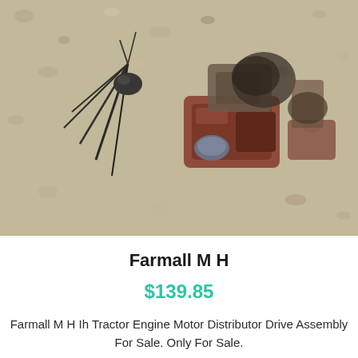[Figure (photo): A tractor engine motor distributor drive assembly part lying on a gravel/sand surface. The part appears to be metallic with wires attached, partially rusted and weathered, reddish-brown colored components visible.]
Farmall M H
$139.85
Farmall M H Ih Tractor Engine Motor Distributor Drive Assembly For Sale. Only For Sale.